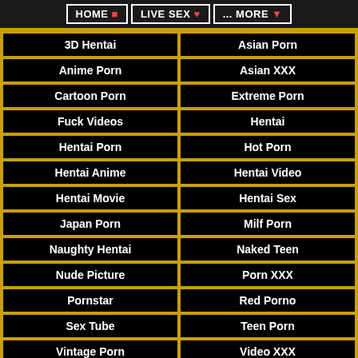HOME | LIVE SEX | ... MORE
| 3D Hentai | Asian Porn |
| Anime Porn | Asian XXX |
| Cartoon Porn | Extreme Porn |
| Fuck Videos | Hentai |
| Hentai Porn | Hot Porn |
| Hentai Anime | Hentai Video |
| Hentai Movie | Hentai Sex |
| Japan Porn | Milf Porn |
| Naughty Hentai | Naked Teen |
| Nude Picture | Porn XXX |
| Pornstar | Red Porno |
| Sex Tube | Teen Porn |
| Vintage Porn | Video XXX |